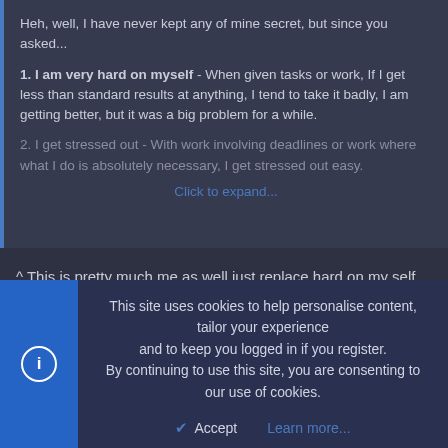Heh, well, I have never kept any of mine secret, but since you asked...
1. I am very hard on myself - When given tasks or work, If I get less than standard results at anything, I tend to take it badly, I am getting better, but it was a big problem for a while.
2. I get stressed out - With work involving deadlines or work where what I do is absolutely necessary, I get stressed out easy.
Click to expand...
^ This is pretty much me as well just replace hard on my self with trouble making friends and you'd get my main five faults.
Akytalusia
New member
This site uses cookies to help personalise content, tailor your experience and to keep you logged in if you register.
By continuing to use this site, you are consenting to our use of cookies.
Accept   Learn more...